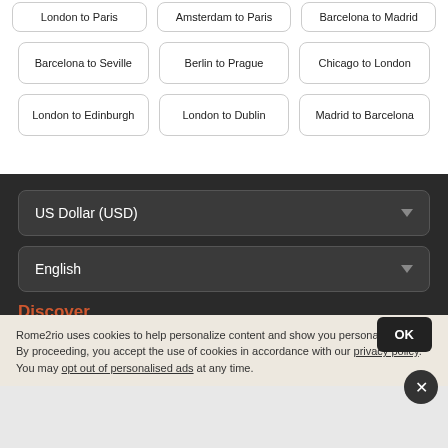London to Paris
Amsterdam to Paris
Barcelona to Madrid
Barcelona to Seville
Berlin to Prague
Chicago to London
London to Edinburgh
London to Dublin
Madrid to Barcelona
US Dollar (USD)
English
Discover
Travel Gear
Travel Guides
Rome2rio uses cookies to help personalize content and show you personalised ads. By proceeding, you accept the use of cookies in accordance with our privacy policy. You may opt out of personalised ads at any time.
OK
×